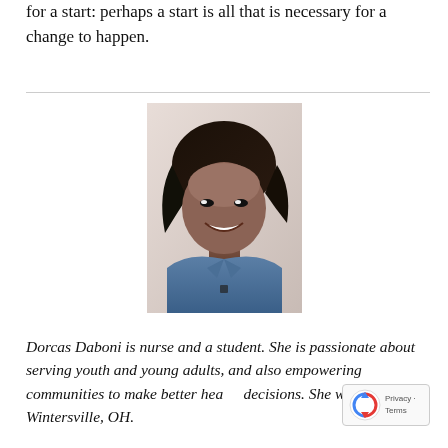for a start: perhaps a start is all that is necessary for a change to happen.
[Figure (photo): Portrait photo of Dorcas Daboni, a woman smiling, wearing a denim shirt, with a short bob hairstyle.]
Dorcas Daboni is nurse and a student. She is passionate about serving youth and young adults, and also empowering communities to make better health decisions. She writes from Wintersville, OH.